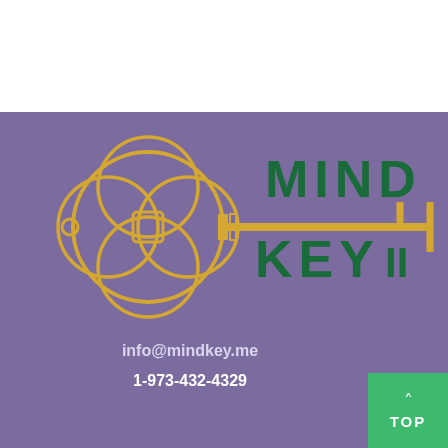[Figure (logo): Mind Key logo: purple background with golden key graphic (overlapping circles forming a flower/ring pattern as the bow, horizontal shaft and bit) and green text reading MIND KEY II]
info@mindkey.me
1-973-432-4329